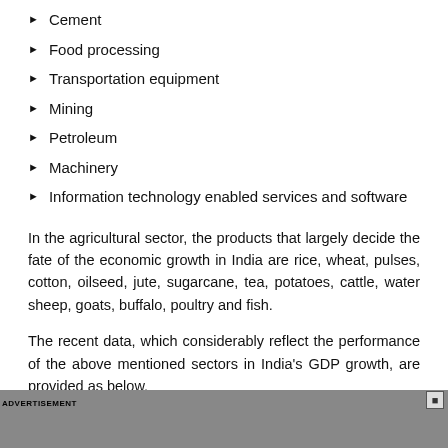Cement
Food processing
Transportation equipment
Mining
Petroleum
Machinery
Information technology enabled services and software
In the agricultural sector, the products that largely decide the fate of the economic growth in India are rice, wheat, pulses, cotton, oilseed, jute, sugarcane, tea, potatoes, cattle, water sheep, goats, buffalo, poultry and fish.
The recent data, which considerably reflect the performance of the above mentioned sectors in India's GDP growth, are provided as below.
A snapshot of India real GDP growth in 2008-09:
ADVERTISEMENT